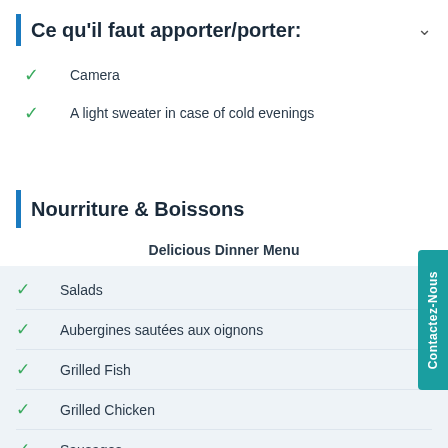Ce qu'il faut apporter/porter:
Camera
A light sweater in case of cold evenings
Nourriture & Boissons
Delicious Dinner Menu
Salads
Aubergines sautées aux oignons
Grilled Fish
Grilled Chicken
Sausages
Dessert
*Vegetarian Menu is equally available on request